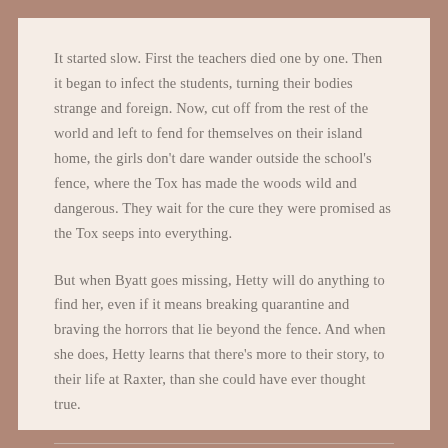It started slow. First the teachers died one by one. Then it began to infect the students, turning their bodies strange and foreign. Now, cut off from the rest of the world and left to fend for themselves on their island home, the girls don't dare wander outside the school's fence, where the Tox has made the woods wild and dangerous. They wait for the cure they were promised as the Tox seeps into everything.
But when Byatt goes missing, Hetty will do anything to find her, even if it means breaking quarantine and braving the horrors that lie beyond the fence. And when she does, Hetty learns that there's more to their story, to their life at Raxter, than she could have ever thought true.